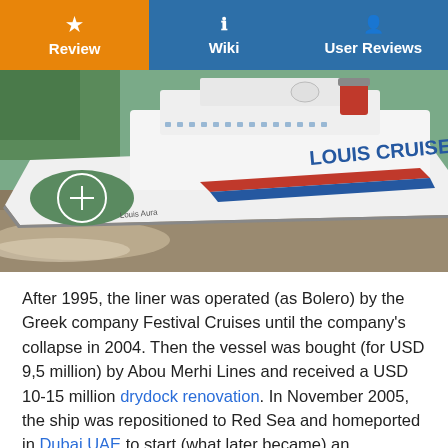Review | Wiki | User Reviews
[Figure (photo): Aerial view of Louis Cruises cruise ship 'Louis Aura' navigating a river or canal, with red, white, and blue stripe livery on the hull and a helicopter pad visible on the bow deck.]
After 1995, the liner was operated (as Bolero) by the Greek company Festival Cruises until the company's collapse in 2004. Then the vessel was bought (for USD 9,5 million) by Abou Merhi Lines and received a USD 10-15 million drydock renovation. In November 2005, the ship was repositioned to Red Sea and homeported in Dubai UAE to start (what later became) an unsuccessful Persian Gulf cruise program.
In July 2006, Louis Aura was used to help evacuate US citizens from Lebanon to Larnaca Cyprus. The ship was escorted by two US Navy guided-missile destroyers - USS Gonzalez (DDG-66) and